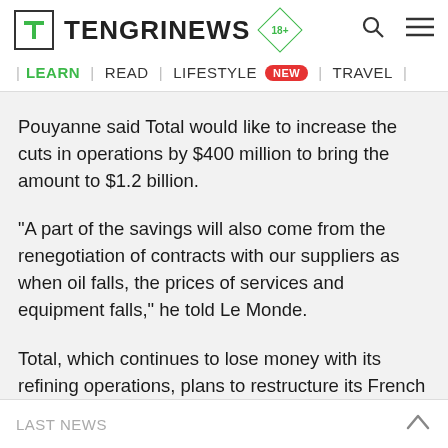TENGRINEWS 18+
| LEARN | READ | LIFESTYLE NEW | TRAVEL |
Pouyanne said Total would like to increase the cuts in operations by $400 million to bring the amount to $1.2 billion.
"A part of the savings will also come from the renegotiation of contracts with our suppliers as when oil falls, the prices of services and equipment falls," he told Le Monde.
Total, which continues to lose money with its refining operations, plans to restructure its French sites and announcements will be made in the coming months, said
LAST NEWS